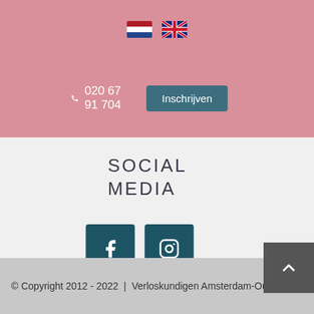[Figure (screenshot): Navigation header with Dutch and UK flags, phone number 020 67 91 704, and Inschrijven button on pink background]
SOCIAL
MEDIA
[Figure (infographic): Three social media icon buttons: Facebook (f), Instagram, and Email/envelope icons in dark teal rounded squares]
© Copyright 2012 - 2022  |  Verloskundigen Amsterdam-Oud  |